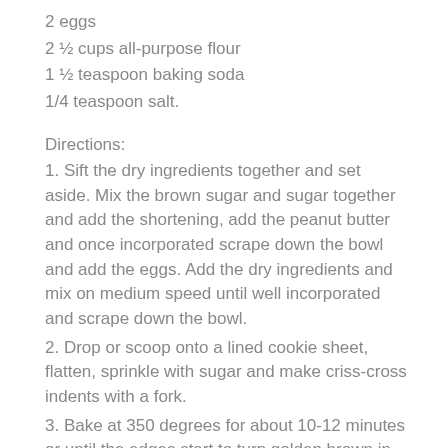2 eggs
2 ½ cups all-purpose flour
1 ½ teaspoon baking soda
1/4 teaspoon salt.
Directions:
1. Sift the dry ingredients together and set aside. Mix the brown sugar and sugar together and add the shortening, add the peanut butter and once incorporated scrape down the bowl and add the eggs. Add the dry ingredients and mix on medium speed until well incorporated and scrape down the bowl.
2. Drop or scoop onto a lined cookie sheet, flatten, sprinkle with sugar and make criss-cross indents with a fork.
3. Bake at 350 degrees for about 10-12 minutes or until the edges start to turn golden brown in color.
STAY CONNECTED WITH US: